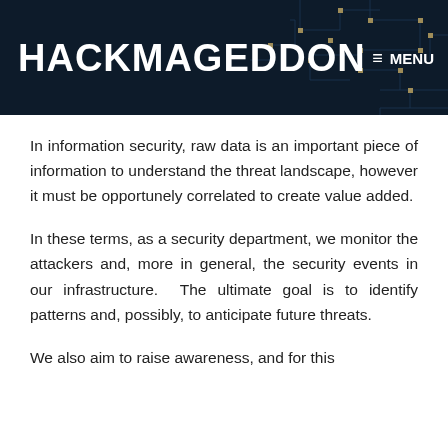HACKMAGEDDON   ≡ MENU
In information security, raw data is an important piece of information to understand the threat landscape, however it must be opportunely correlated to create value added.
In these terms, as a security department, we monitor the attackers and, more in general, the security events in our infrastructure.  The ultimate goal is to identify patterns and, possibly, to anticipate future threats.
We also aim to raise awareness, and for this